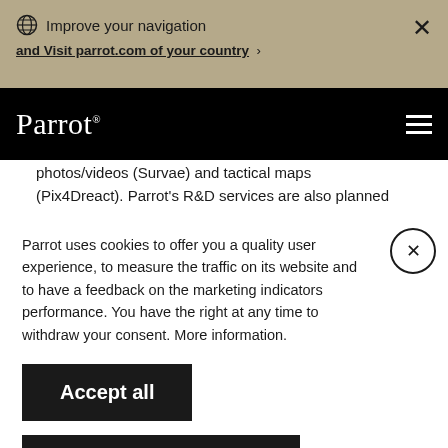Improve your navigation and Visit parrot.com of your country
Parrot
photos/videos (Survae) and tactical maps (Pix4Dreact). Parrot's R&D services are also planned
Parrot uses cookies to offer you a quality user experience, to measure the traffic on its website and to have a feedback on the marketing indicators performance. You have the right at any time to withdraw your consent. More information.
Accept all
Personalize my cookies